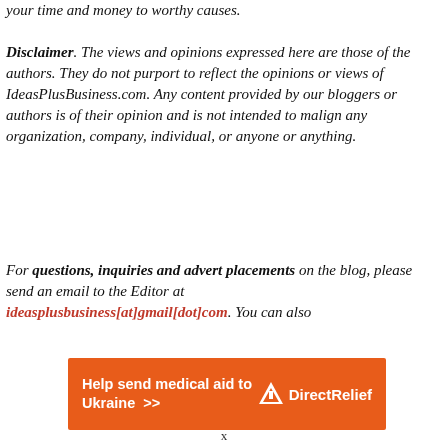your time and money to worthy causes.
Disclaimer. The views and opinions expressed here are those of the authors. They do not purport to reflect the opinions or views of IdeasPlusBusiness.com. Any content provided by our bloggers or authors is of their opinion and is not intended to malign any organization, company, individual, or anyone or anything.
For questions, inquiries and advert placements on the blog, please send an email to the Editor at ideasplusbusiness[at]gmail[dot]com. You can also
[Figure (infographic): Orange banner ad: 'Help send medical aid to Ukraine >>' with Direct Relief logo on the right.]
x